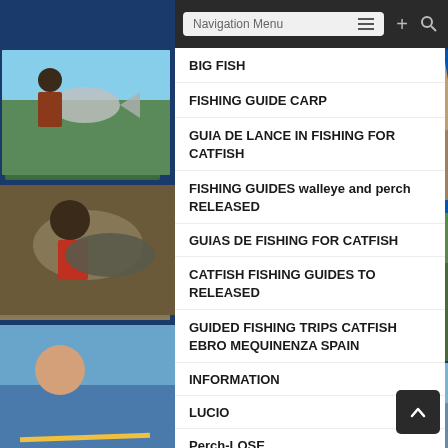[Figure (screenshot): Navigation menu bar with hamburger menu button, plus icon, and search icon on dark background]
BIG FISH
FISHING GUIDE CARP
GUIA DE LANCE IN FISHING FOR CATFISH
FISHING GUIDES walleye and perch RELEASED
GUIAS DE FISHING FOR CATFISH
CATFISH FISHING GUIDES TO RELEASED
GUIDED FISHING TRIPS CATFISH EBRO MEQUINENZA SPAIN
INFORMATION
LUCIO
Perch-LOSE
FISHING NEWS